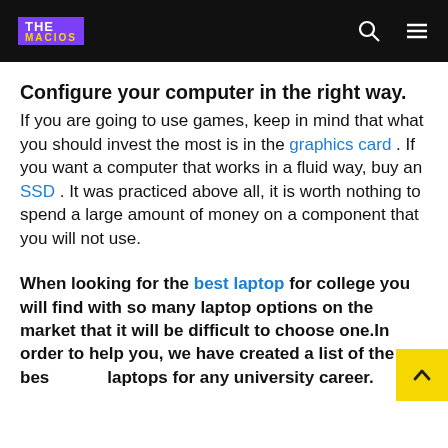THE MACIOS
Configure your computer in the right way.
If you are going to use games, keep in mind that what you should invest the most is in the graphics card . If you want a computer that works in a fluid way, buy an SSD . It was practiced above all, it is worth nothing to spend a large amount of money on a component that you will not use.
When looking for the best laptop for college you will find with so many laptop options on the market that it will be difficult to choose one.In order to help you, we have created a list of the best laptops for any university career.